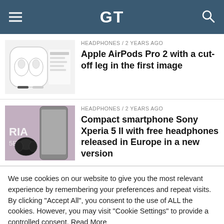GT
HEADPHONES / 2 years ago
Apple AirPods Pro 2 with a cut-off leg in the first image
HEADPHONES / 2 years ago
Compact smartphone Sony Xperia 5 II with free headphones released in Europe in a new version
We use cookies on our website to give you the most relevant experience by remembering your preferences and repeat visits. By clicking "Accept All", you consent to the use of ALL the cookies. However, you may visit "Cookie Settings" to provide a controlled consent. Read More